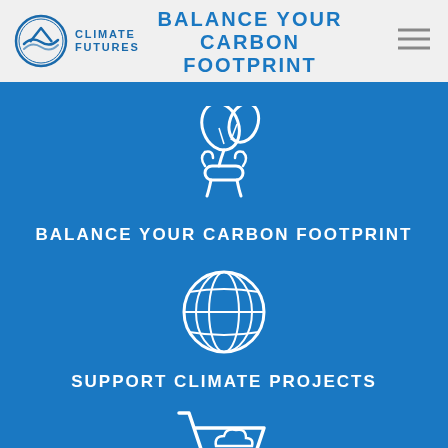Climate Futures — navigation header
BALANCE YOUR CARBON FOOTPRINT
[Figure (illustration): White line icon of a hand holding a plant/seedling with leaves, on blue background]
BALANCE YOUR CARBON FOOTPRINT
[Figure (illustration): White line icon of a globe/grid sphere, on blue background]
SUPPORT CLIMATE PROJECTS
[Figure (illustration): White line icon of a shopping cart, on blue background, partially visible at bottom]